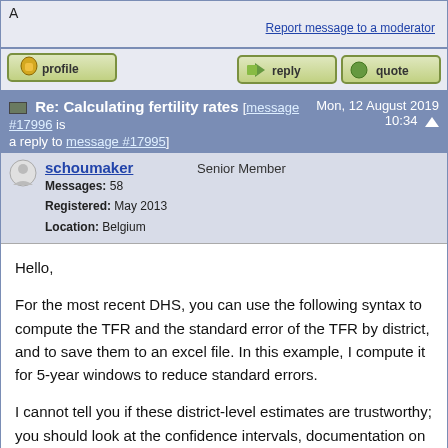A
Report message to a moderator
[Figure (screenshot): Forum action buttons: profile, reply, quote]
Re: Calculating fertility rates [message #17996 is a reply to message #17995]  Mon, 12 August 2019 10:34
schoumaker   Senior Member
Messages: 58
Registered: May 2013
Location: Belgium
Hello,

For the most recent DHS, you can use the following syntax to compute the TFR and the standard error of the TFR by district, and to save them to an excel file. In this example, I compute it for 5-year windows to reduce standard errors.

I cannot tell you if these district-level estimates are trustworthy; you should look at the confidence intervals, documentation on sampling, etc.